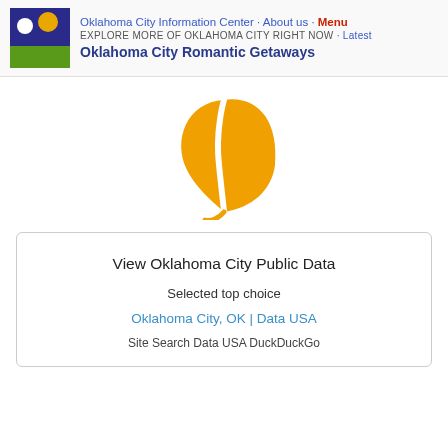Oklahoma City Information Center · About us · Menu
EXPLORE MORE OF OKLAHOMA CITY RIGHT NOW · Latest
Oklahoma City Romantic Getaways
[Figure (logo): Orange leaf icon on white background, centered in the page body area]
View Oklahoma City Public Data
Selected top choice
Oklahoma City, OK | Data USA
Site Search Data USA DuckDuckGo